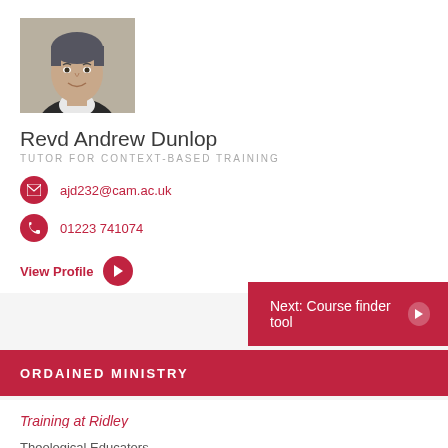[Figure (photo): Headshot photo of Revd Andrew Dunlop, a man with grey-streaked dark hair, smiling, wearing a dark sweater with white collar visible]
Revd Andrew Dunlop
TUTOR FOR CONTEXT-BASED TRAINING
ajd232@cam.ac.uk
01223 741074
View Profile
Next: Course finder tool
ORDAINED MINISTRY
Training at Ridley
Theological Educators